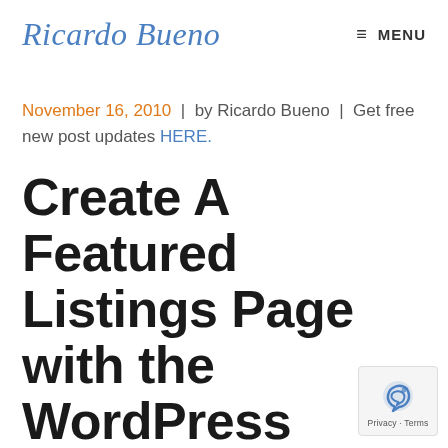Ricardo Bueno  ≡ MENU
November 16, 2010  |  by Ricardo Bueno  |  Get free new post updates HERE.
Create A Featured Listings Page with the WordPress Property Plugin